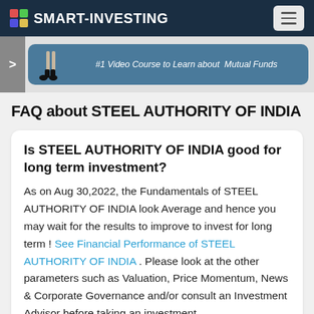SMART-INVESTING
[Figure (screenshot): Banner image showing a video course promotion for Mutual Funds with text '#1 Video Course to Learn about Mutual Funds']
FAQ about STEEL AUTHORITY OF INDIA
Is STEEL AUTHORITY OF INDIA good for long term investment?
As on Aug 30,2022, the Fundamentals of STEEL AUTHORITY OF INDIA look Average and hence you may wait for the results to improve to invest for long term ! See Financial Performance of STEEL AUTHORITY OF INDIA . Please look at the other parameters such as Valuation, Price Momentum, News & Corporate Governance and/or consult an Investment Advisor before taking an investment